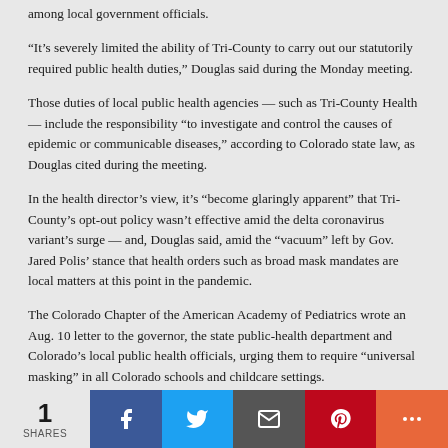among local government officials.
“It’s severely limited the ability of Tri-County to carry out our statutorily required public health duties,” Douglas said during the Monday meeting.
Those duties of local public health agencies — such as Tri-County Health — include the responsibility “to investigate and control the causes of epidemic or communicable diseases,” according to Colorado state law, as Douglas cited during the meeting.
In the health director’s view, it’s “become glaringly apparent” that Tri-County’s opt-out policy wasn’t effective amid the delta coronavirus variant’s surge — and, Douglas said, amid the “vacuum” left by Gov. Jared Polis’ stance that health orders such as broad mask mandates are local matters at this point in the pandemic.
The Colorado Chapter of the American Academy of Pediatrics wrote an Aug. 10 letter to the governor, the state public-health department and Colorado’s local public health officials, urging them to require “universal masking” in all Colorado schools and childcare settings.
“The time has come for statewide action,” the letter read.
School mask policy has been a volatile and, at times, confusing part of life in Adams, Arapahoe and Douglas counties in the past few weeks, with the onus having been placed on counties and school districts to make controversial decisions of whether to require mask wearing.
Douglas, the health director, likened it to passing the “hot potato” around,